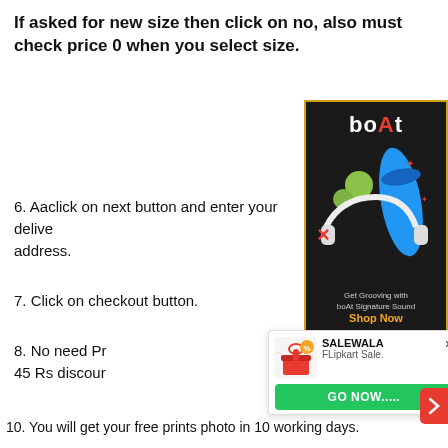If asked for new size then click on no, also must check price 0 when you select size.
[Figure (illustration): boAt audio products advertisement with headphones, earbuds and speaker. Dark background with yellow border. Text: Get Grooving with boAt Signature Sound. Shop Now.]
6. Aaclick on next button and enter your delivery address.
7. Click on checkout button.
8. No need Pr... 45 Rs discour...
[Figure (screenshot): SALEWALA notification popup with gift icon, FLipkart Sale. text, X close button, and GO NOW..... green button]
10. You will get your free prints photo in 10 working days.